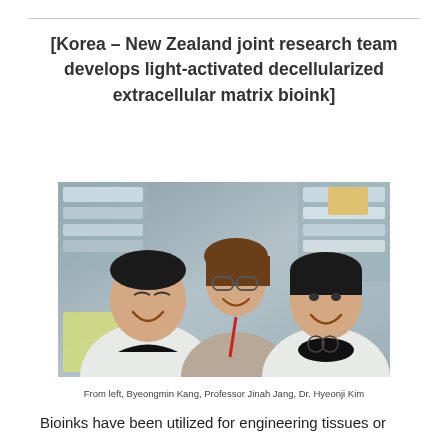[Korea – New Zealand joint research team develops light-activated decellularized extracellular matrix bioink]
[Figure (photo): Three researchers (two in white lab coats) smiling in a laboratory setting. From left: Byeongmin Kang, Professor Jinah Jang, Dr. Hyeonji Kim.]
From left, Byeongmin Kang, Professor Jinah Jang, Dr. Hyeonji Kim
Bioinks have been utilized for engineering tissues or